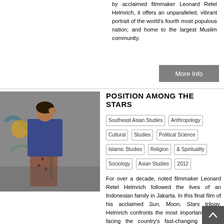by acclaimed filmmaker Leonard Retel Helmrich, it offers an unparalleled, vibrant portrait of the world's fourth most populous nation; and home to the largest Muslim community.
More Info
POSITION AMONG THE STARS
Southeast Asian Studies | Anthropology | Cultural Studies | Political Science | Islamic Studies | Religion & Spirituality | Sociology | Asian Studies | 2012
[Figure (photo): A young man in a blue sweater and an elderly woman in patterned clothing standing in front of a graffiti-covered wall.]
For over a decade, noted filmmaker Leonard Retel Helmrich followed the lives of an Indonesian family in Jakarta. In this final film of his acclaimed Sun, Moon, Stars trilogy, Helmrich confronts the most important issues facing the country's fast-changing society: corruption, conflict between religions, gambling addiction, the generation gap, and the widening disparity between rich and poor.